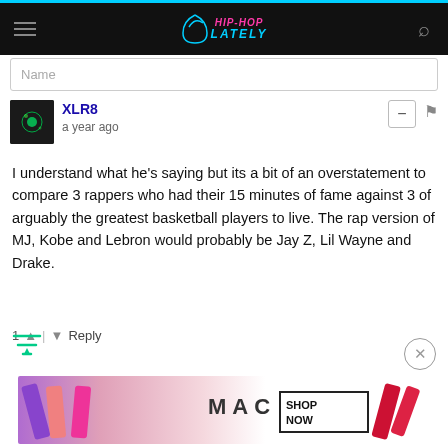Hip-Hop Lately
Name
XLR8 — a year ago
I understand what he's saying but its a bit of an overstatement to compare 3 rappers who had their 15 minutes of fame against 3 of arguably the greatest basketball players to live. The rap version of MJ, Kobe and Lebron would probably be Jay Z, Lil Wayne and Drake.
1 ▲ | ▼ Reply
[Figure (screenshot): MAC cosmetics advertisement showing lipsticks with SHOP NOW text]
MAC advertisement